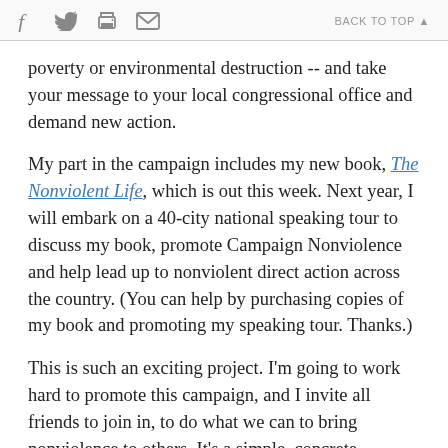[social icons: f, bird/twitter, printer, envelope] BACK TO TOP
poverty or environmental destruction -- and take your message to your local congressional office and demand new action.
My part in the campaign includes my new book, The Nonviolent Life, which is out this week. Next year, I will embark on a 40-city national speaking tour to discuss my book, promote Campaign Nonviolence and help lead up to nonviolent direct action across the country. (You can help by purchasing copies of my book and promoting my speaking tour. Thanks.)
This is such an exciting project. I'm going to work hard to promote this campaign, and I invite all friends to join in, to do what we can to bring nonviolence to others. It's a simple, concrete, organized project everyone can join. For details, visit paceebene.org or call their office.